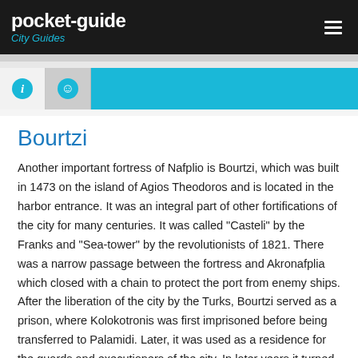pocket-guide City Guides
Bourtzi
Another important fortress of Nafplio is Bourtzi, which was built in 1473 on the island of Agios Theodoros and is located in the harbor entrance. It was an integral part of other fortifications of the city for many centuries. It was called “Casteli” by the Franks and “Sea-tower” by the revolutionists of 1821. There was a narrow passage between the fortress and Akronafplia which closed with a chain to protect the port from enemy ships. After the liberation of the city by the Turks, Bourtzi served as a prison, where Kolokotronis was first imprisoned before being transferred to Palamidi. Later, it was used as a residence for the guards and executioners of the city. In later years it turned into a hotel until the 1960’s. The presence of this